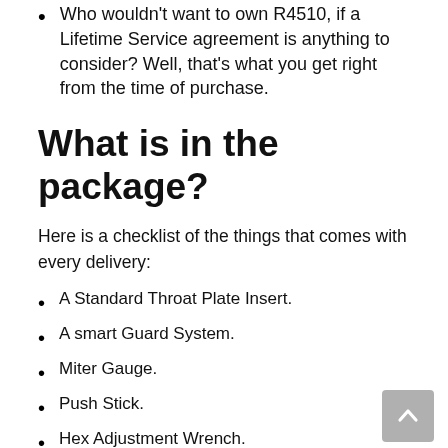Who wouldn't want to own R4510, if a Lifetime Service agreement is anything to consider? Well, that's what you get right from the time of purchase.
What is in the package?
Here is a checklist of the things that comes with every delivery:
A Standard Throat Plate Insert.
A smart Guard System.
Miter Gauge.
Push Stick.
Hex Adjustment Wrench.
Gravity-Rise Table-stand.
A Saw Blade (10-inches with 40 teeth).